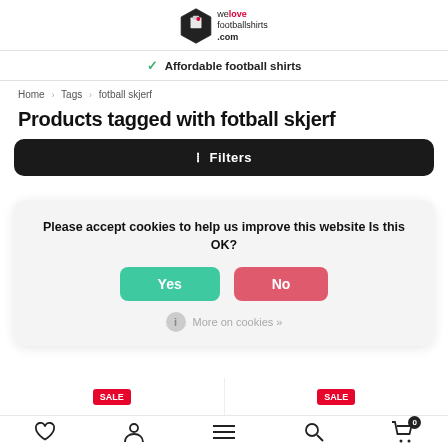welovefootballshirts.com
✓ Affordable football shirts
Home > Tags > fotball skjerf
Products tagged with fotball skjerf
⠿ Filters
Please accept cookies to help us improve this website Is this OK?
Yes  No
More on cookies »
♡  👤  ≡  🔍  🛒 0